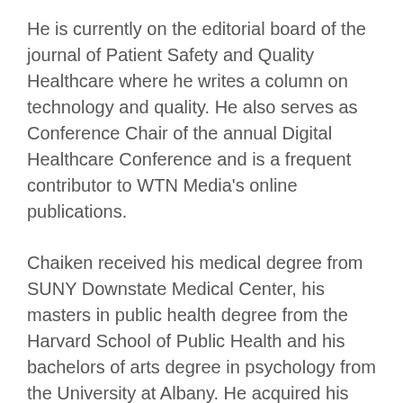He is currently on the editorial board of the journal of Patient Safety and Quality Healthcare where he writes a column on technology and quality. He also serves as Conference Chair of the annual Digital Healthcare Conference and is a frequent contributor to WTN Media's online publications.
Chaiken received his medical degree from SUNY Downstate Medical Center, his masters in public health degree from the Harvard School of Public Health and his bachelors of arts degree in psychology from the University at Albany. He acquired his specialty training from the Centers for Disease Control as an Epidemic Intelligence Service Officer and from the New Jersey State Department of Health as a preventive medicine resident. He served as a Board member (2006-2010), Board Liaison to HIMSS Europe (2006-